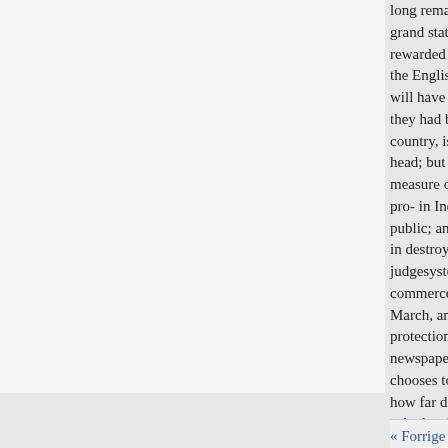long remain on her busaddress, l grand state, deigned to re- report rewarded with regal dignity, libe the English abetting the the Pruss will have no reason to lament ing they had been conquered has pre country, is as well known to ent head; but his hopes had and they measure of uniting them to Franc pro- in India, was of too alarming public; and continent is open to t in destroy, such as must create, i judgesystem, set up by the Engli commerce and trade it was publi March, and was extracted its lice protection, and he evidently It oc newspaper, enters into argo. cont chooses to call our tyranny of the how far different side of the ques calculated for any of commerce: labour under very the refractory, that masterly commanding stile w
« Forrige